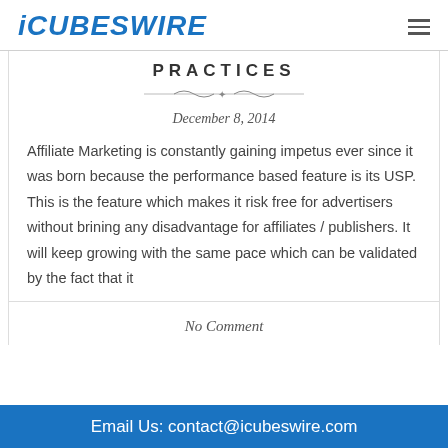iCUBESWiRE
PRACTICES
December 8, 2014
Affiliate Marketing is constantly gaining impetus ever since it was born because the performance based feature is its USP. This is the feature which makes it risk free for advertisers without brining any disadvantage for affiliates / publishers. It will keep growing with the same pace which can be validated by the fact that it
No Comment
Email Us: contact@icubeswire.com